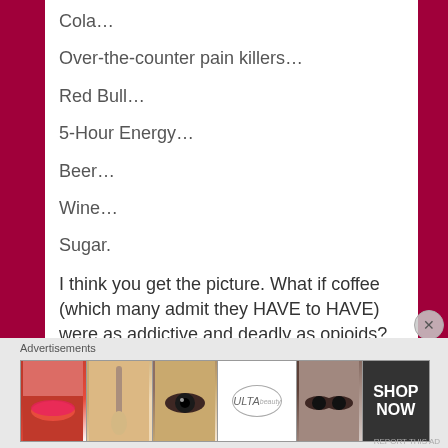Cola…
Over-the-counter pain killers…
Red Bull…
5-Hour Energy…
Beer…
Wine…
Sugar.
I think you get the picture. What if coffee (which many admit they HAVE to HAVE) were as addictive and deadly as opioids?
When you see someone hit rock bottom of their
[Figure (screenshot): Advertisement banner for ULTA Beauty with cosmetics imagery and SHOP NOW call to action]